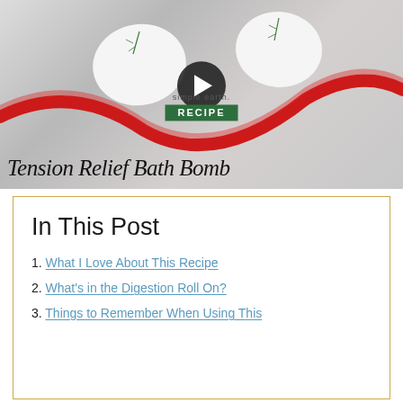[Figure (photo): Video thumbnail showing white bath bombs with rosemary sprigs and red ribbon, with play button overlay. Text reads 'simple earth RECIPE' and 'Tension Relief Bath Bomb' in handwritten style.]
In This Post
1. What I Love About This Recipe
2. What's in the Digestion Roll On?
3. Things to Remember When Using This